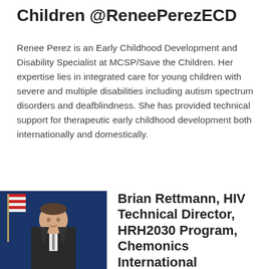Children @ReneePerezECD
Renee Perez is an Early Childhood Development and Disability Specialist at MCSP/Save the Children. Her expertise lies in integrated care for young children with severe and multiple disabilities including autism spectrum disorders and deafblindness. She has provided technical support for therapeutic early childhood development both internationally and domestically.
[Figure (photo): Portrait photo of Brian Rettmann, a man in a dark suit with a tie, standing in front of an American flag on a blue background.]
Brian Rettmann, HIV Technical Director, HRH2030 Program, Chemonics International